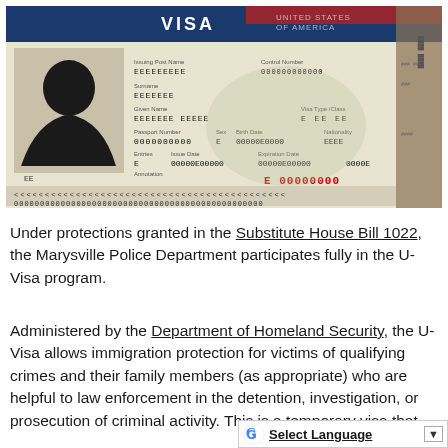[Figure (photo): A US Visa document with redacted/placeholder information. Shows VISA text at top, silhouette photo, fields for Issuing Post Name (EEEEEEEEE), Control Number (000000000000), Surname (EEEEEEE), Given Name (EEEEEEE EEEEE), Visa Type/Class (E EE EE), Passport Number (0000000000), Sex (E), Birth Date (00000E0000), Nationality (EEEE), Entries (E), Issue Date (00000E00000), Expiration Date (00000E00000), control number (0000E), Annotation, machine-readable zone with E 00000000 and rows of angle brackets and zeros.]
Under protections granted in the Substitute House Bill 1022, the Marysville Police Department participates fully in the U-Visa program.
Administered by the Department of Homeland Security, the U-Visa allows immigration protection for victims of qualifying crimes and their family members (as appropriate) who are helpful to law enforcement in the detention, investigation, or prosecution of criminal activity. This is a temporary visa that